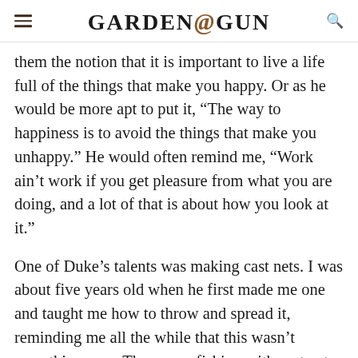GARDEN&GUN
them the notion that it is important to live a life full of the things that make you happy. Or as he would be more apt to put it, “The way to happiness is to avoid the things that make you unhappy.” He would often remind me, “Work ain’t work if you get pleasure from what you are doing, and a lot of that is about how you look at it.”
One of Duke’s talents was making cast nets. I was about five years old when he first made me one and taught me how to throw and spread it, reminding me all the while that this wasn’t something new: They were fishing with cast nets in the Bible. Eventually he taught me how to make them myself, tying the knots with a gauge and a net needle. “All you need to know to make a